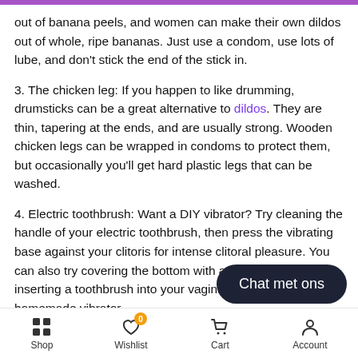out of banana peels, and women can make their own dildos out of whole, ripe bananas. Just use a condom, use lots of lube, and don't stick the end of the stick in.
3. The chicken leg: If you happen to like drumming, drumsticks can be a great alternative to dildos. They are thin, tapering at the ends, and are usually strong. Wooden chicken legs can be wrapped in condoms to protect them, but occasionally you'll get hard plastic legs that can be washed.
4. Electric toothbrush: Want a DIY vibrator? Try cleaning the handle of your electric toothbrush, then press the vibrating base against your clitoris for intense clitoral pleasure. You can also try covering the bottom with a condom and inserting a toothbrush into your vagina to create a homemade vibrator.
5. Carrots: Another "penis" food on the list…
Shop  Wishlist 0  Cart  Account